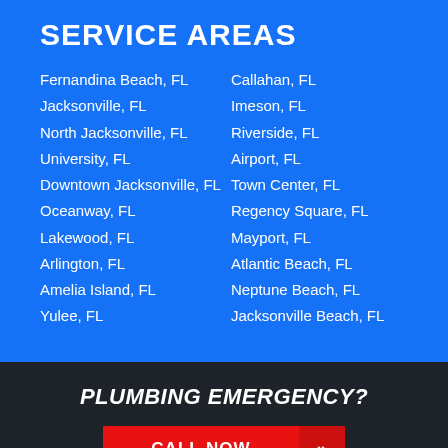SERVICE AREAS
Fernandina Beach, FL
Callahan, FL
Jacksonville, FL
Imeson, FL
North Jacksonville, FL
Riverside, FL
University, FL
Airport, FL
Downtown Jacksonville, FL
Town Center, FL
Oceanway, FL
Regency Square, FL
Lakewood, FL
Mayport, FL
Arlington, FL
Atlantic Beach, FL
Amelia Island, FL
Neptune Beach, FL
Yulee, FL
Jacksonville Beach, FL
PLUMBING EMERGENCY?
CALL NOW »